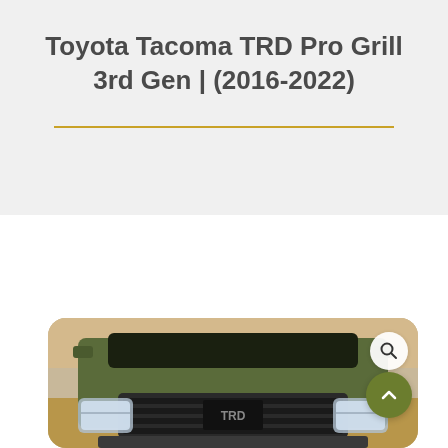Toyota Tacoma TRD Pro Grill 3rd Gen | (2016-2022)
[Figure (photo): Front view of a green Toyota Tacoma TRD Pro truck with a custom grill, shown from the front low angle in a desert/outdoor setting. The image has rounded corners and overlapping UI zoom and scroll-to-top buttons.]